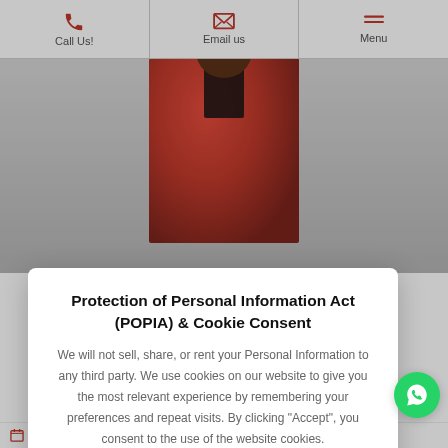Call Us! | Email us | Menu
[Figure (photo): Person wearing a red/pink blazer jacket, upper body visible, hero image on website]
own
ussell Simmons' to prominence in rring alongside rsary in 2015. In as producer and
Protection of Personal Information Act (POPIA) & Cookie Consent
We will not sell, share, or rent your Personal Information to any third party. We use cookies on our website to give you the most relevant experience by remembering your preferences and repeat visits. By clicking "Accept", you consent to the use of the website cookies.
Accept Cookies
Contact us
August 16, 2018   0 Comment